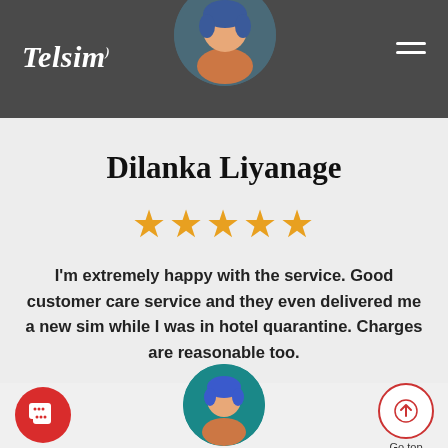Telsim
[Figure (illustration): Circular avatar illustration of a person with blue hair on dark background header]
Dilanka Liyanage
[Figure (other): Five gold star rating]
I'm extremely happy with the service. Good customer care service and they even delivered me a new sim while I was in hotel quarantine. Charges are reasonable too.
[Figure (illustration): Red circular chat/message button icon at bottom left]
[Figure (illustration): Teal circular avatar illustration of a person at bottom center]
[Figure (other): Go top button with upward arrow icon at bottom right]